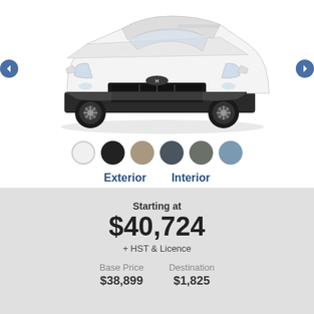[Figure (photo): Front view of a white Hyundai Santa Cruz SUV/pickup truck on a white background]
[Figure (infographic): Color swatch options: white (selected), black, tan/beige, dark slate, grey-green, steel blue]
Exterior   Interior
Starting at
$40,724
+ HST & Licence
| Base Price | Destination |
| --- | --- |
| $38,899 | $1,825 |